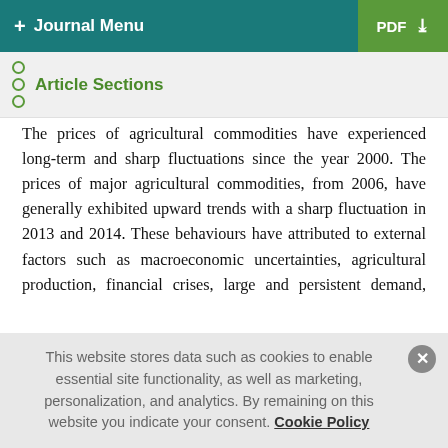+ Journal Menu  PDF ↓
Article Sections
The prices of agricultural commodities have experienced long-term and sharp fluctuations since the year 2000. The prices of major agricultural commodities, from 2006, have generally exhibited upward trends with a sharp fluctuation in 2013 and 2014. These behaviours have attributed to external factors such as macroeconomic uncertainties, agricultural production, financial crises, large and persistent demand, biofuels demand, different stock market phases, and climate warming [1–6]. For example, the outbreak of COVID-19 in 2019 has overturned the stagnation in food prices after its downward trend in 2015-2016. The Food and Agricultural Organisation Food Price Index
This website stores data such as cookies to enable essential site functionality, as well as marketing, personalization, and analytics. By remaining on this website you indicate your consent. Cookie Policy